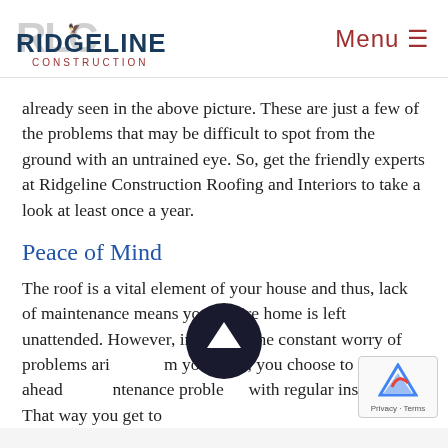RIDGELINE CONSTRUCTION — Menu
already seen in the above picture. These are just a few of the problems that may be difficult to spot from the ground with an untrained eye. So, get the friendly experts at Ridgeline Construction Roofing and Interiors to take a look at least once a year.
Peace of Mind
The roof is a vital element of your house and thus, lack of maintenance means your entire home is left unattended. However, instead of the constant worry of problems arising from your roof, you choose to stay ahead of maintenance problems with regular inspections. That way you get to